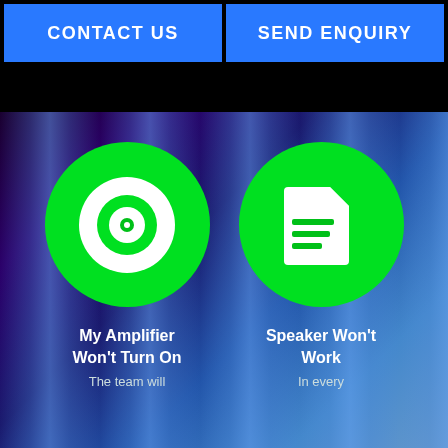CONTACT US | SEND ENQUIRY
[Figure (illustration): Green circle icon with a white disc/CD symbol — represents amplifier/audio media]
My Amplifier Won't Turn On
The team will
[Figure (illustration): Green circle icon with a white document/file icon — represents speaker/document inquiry]
Speaker Won't Work
In every